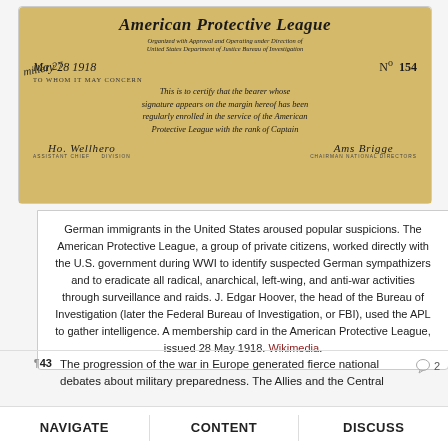[Figure (photo): A membership card of the American Protective League dated May 28, 1918, No. 154. The card certifies that the bearer whose signature appears on the margin hereof has been regularly enrolled in the service of the American Protective League with the rank of Captain. Signed by Assistant Chief, Division, and Chairman National Directors.]
German immigrants in the United States aroused popular suspicions. The American Protective League, a group of private citizens, worked directly with the U.S. government during WWI to identify suspected German sympathizers and to eradicate all radical, anarchical, left-wing, and anti-war activities through surveillance and raids. J. Edgar Hoover, the head of the Bureau of Investigation (later the Federal Bureau of Investigation, or FBI), used the APL to gather intelligence. A membership card in the American Protective League, issued 28 May 1918. Wikimedia.
¶ 43   The progression of the war in Europe generated fierce national debates about military preparedness. The Allies and the Central
NAVIGATE   CONTENT   DISCUSS